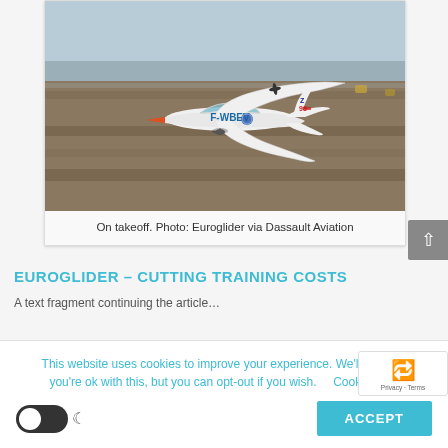[Figure (photo): A white motorized glider aircraft with orange nose and registration F-WBEV and Z-98 on tail, photographed on takeoff roll on a runway with flat terrain in background.]
On takeoff. Photo: Euroglider via Dassault Aviation
EUROGLIDER – CUTTING TRAINING COSTS
A text fragment, the beginning of an article about cutting training costs...
This website uses cookies to improve your experience. We'll assume you're ok with this, but you can opt-out if you wish.   Cookie se...